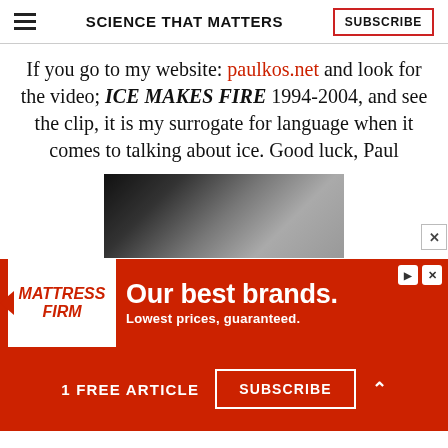SCIENCE THAT MATTERS | SUBSCRIBE
If you go to my website: paulkos.net and look for the video; ICE MAKES FIRE 1994-2004, and see the clip, it is my surrogate for language when it comes to talking about ice. Good luck, Paul
[Figure (photo): Black and white image showing ice or smoke, partially visible]
[Figure (infographic): Mattress Firm advertisement banner: 'Our best brands. Lowest prices, guaranteed.']
1 FREE ARTICLE  SUBSCRIBE